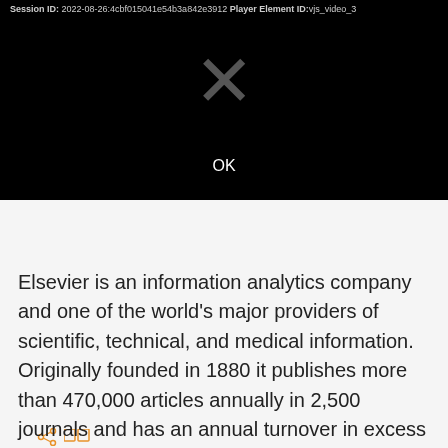[Figure (screenshot): Black video player error screen showing an X symbol in the center and 'OK' text below. Session ID and Player Element ID displayed at top.]
Session ID: 2022-08-26:4cbf015041e54b3a842e3912 Player Element ID:vjs_video_3
[Figure (other): Share icon and two small square icons in orange/amber color]
Elsevier is an information analytics company and one of the world's major providers of scientific, technical, and medical information. Originally founded in 1880 it publishes more than 470,000 articles annually in 2,500 journals and has an annual turnover in excess of £2.5